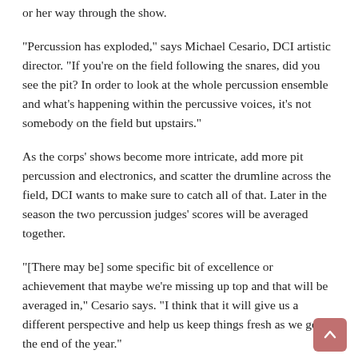or her way through the show.
“Percussion has exploded,” says Michael Cesario, DCI artistic director. “If you’re on the field following the snares, did you see the pit? In order to look at the whole percussion ensemble and what’s happening within the percussive voices, it’s not somebody on the field but upstairs.”
As the corps’ shows become more intricate, add more pit percussion and electronics, and scatter the drumline across the field, DCI wants to make sure to catch all of that. Later in the season the two percussion judges’ scores will be averaged together.
“[There may be] some specific bit of excellence or achievement that maybe we’re missing up top and that will be averaged in,” Cesario says. “I think that it will give us a different perspective and help us keep things fresh as we get to the end of the year.”